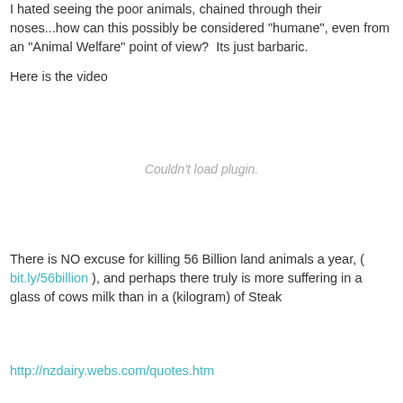I hated seeing the poor animals, chained through their noses...how can this possibly be considered "humane", even from an "Animal Welfare" point of view?  Its just barbaric.
Here is the video
[Figure (other): Video plugin placeholder showing 'Couldn't load plugin.']
There is NO excuse for killing 56 Billion land animals a year, ( bit.ly/56billion ), and perhaps there truly is more suffering in a glass of cows milk than in a (kilogram) of Steak
http://nzdairy.webs.com/quotes.htm